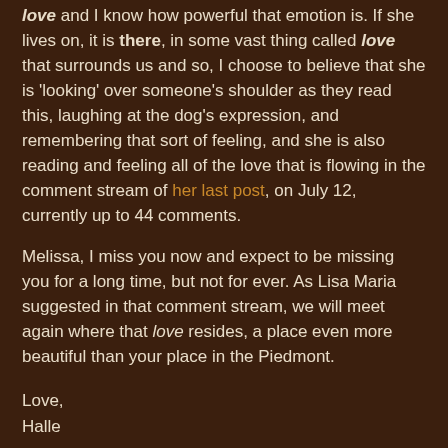love and I know how powerful that emotion is. If she lives on, it is there, in some vast thing called love that surrounds us and so, I choose to believe that she is 'looking' over someone's shoulder as they read this, laughing at the dog's expression, and remembering that sort of feeling, and she is also reading and feeling all of the love that is flowing in the comment stream of her last post, on July 12, currently up to 44 comments.
Melissa, I miss you now and expect to be missing you for a long time, but not for ever. As Lisa Maria suggested in that comment stream, we will meet again where that love resides, a place even more beautiful than your place in the Piedmont.
Love,
Halle
xox
at 14:43    12 comments: